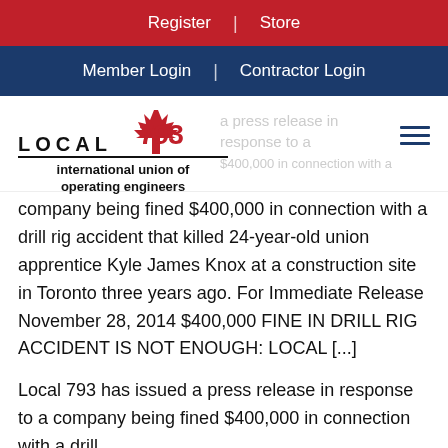Register | Store
Member Login | Contractor Login
[Figure (logo): Local 793 International Union of Operating Engineers logo with red maple leaf and stylized '793' text]
Local 793 has issued a press release in response to a company being fined $400,000 in connection with a drill rig accident that killed 24-year-old union apprentice Kyle James Knox at a construction site in Toronto three years ago. For Immediate Release November 28, 2014 $400,000 FINE IN DRILL RIG ACCIDENT IS NOT ENOUGH: LOCAL [...]
Local 793 has issued a press release in response to a company being fined $400,000 in connection with a drill